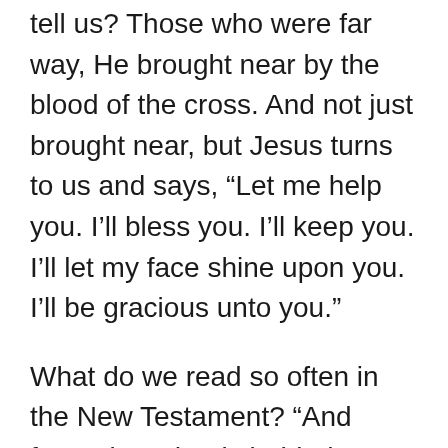tell us? Those who were far way, He brought near by the blood of the cross. And not just brought near, but Jesus turns to us and says, “Let me help you. I’ll bless you. I’ll keep you. I’ll let my face shine upon you. I’ll be gracious unto you.”
What do we read so often in the New Testament? “And forgetting what is behind.” No, no, no. That’s dead. Put off the old self. That’s crucified. The old man dead, buried. Live now to Christ.
There’s a reason the Gospel is called a ministry of reconciliation, because th—